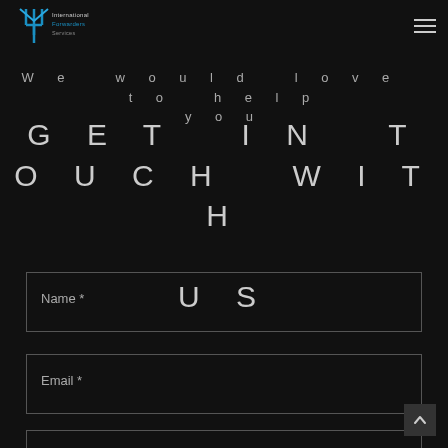[Figure (logo): International Forwarders Services logo with blue fork/trident icon and text]
We would love to help you
GET IN TOUCH WITH US
Name *
Email *